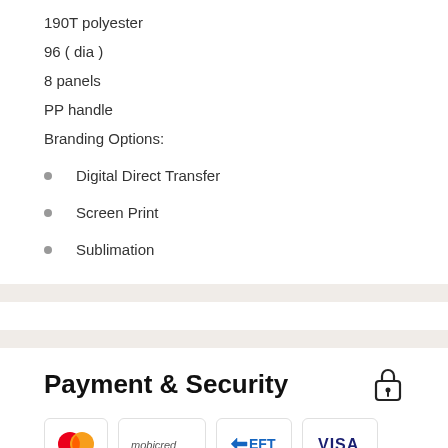190T polyester
96 ( dia )
8 panels
PP handle
Branding Options:
Digital Direct Transfer
Screen Print
Sublimation
Payment & Security
[Figure (logo): Payment method logos: Mastercard, Mobicred, EFT, VISA, Zapper]